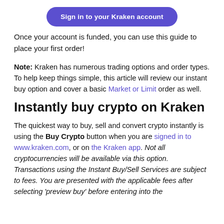[Figure (other): Purple rounded button labeled 'Sign in to your Kraken account']
Once your account is funded, you can use this guide to place your first order!
Note: Kraken has numerous trading options and order types. To help keep things simple, this article will review our instant buy option and cover a basic Market or Limit order as well.
Instantly buy crypto on Kraken
The quickest way to buy, sell and convert crypto instantly is using the Buy Crypto button when you are signed in to www.kraken.com, or on the Kraken app. Not all cryptocurrencies will be available via this option. Transactions using the Instant Buy/Sell Services are subject to fees. You are presented with the applicable fees after selecting 'preview buy' before entering into the